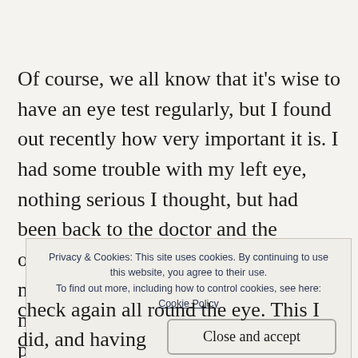Of course, we all know that it's wise to have an eye test regularly, but I found out recently how very important it is. I had some trouble with my left eye, nothing serious I thought, but had been back to the doctor and the optician as I had a symptom I felt was not right. It was only slight – a pain in my left eye, p i n r
Privacy & Cookies: This site uses cookies. By continuing to use this website, you agree to their use. To find out more, including how to control cookies, see here: Cookie Policy
Close and accept
check again all round the eye. This I did, and having